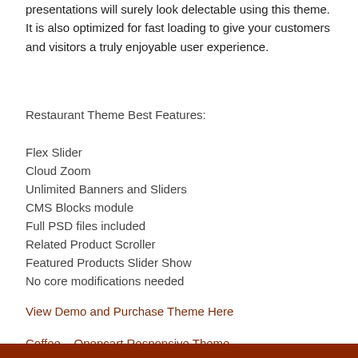presentations will surely look delectable using this theme. It is also optimized for fast loading to give your customers and visitors a truly enjoyable user experience.
Restaurant Theme Best Features:
Flex Slider
Cloud Zoom
Unlimited Banners and Sliders
CMS Blocks module
Full PSD files included
Related Product Scroller
Featured Products Slider Show
No core modifications needed
View Demo and Purchase Theme Here
Coffee – Opencart Responsive Theme
[Figure (other): Brown bar/banner at bottom of page]